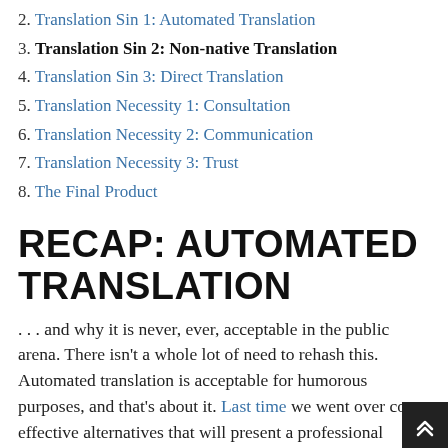2. Translation Sin 1: Automated Translation
3. Translation Sin 2: Non-native Translation
4. Translation Sin 3: Direct Translation
5. Translation Necessity 1: Consultation
6. Translation Necessity 2: Communication
7. Translation Necessity 3: Trust
8. The Final Product
RECAP: AUTOMATED TRANSLATION
. . . and why it is never, ever, acceptable in the public arena. There isn't a whole lot of need to rehash this. Automated translation is acceptable for humorous purposes, and that's about it. Last time we went over cost-effective alternatives that will present a professional appearance, so there's really no excuse. However, there's one option that people frequently